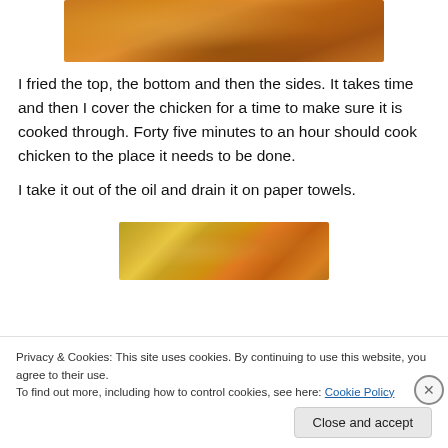[Figure (photo): Fried chicken pieces cooking in a pan, seen from above, golden-brown color]
I fried the top, the bottom and then the sides. It takes time and then I cover the chicken for a time to make sure it is cooked through. Forty five minutes to an hour should cook chicken to the place it needs to be done.
I take it out of the oil and drain it on paper towels.
[Figure (photo): Fried chicken pieces draining on paper towels]
Privacy & Cookies: This site uses cookies. By continuing to use this website, you agree to their use.
To find out more, including how to control cookies, see here: Cookie Policy